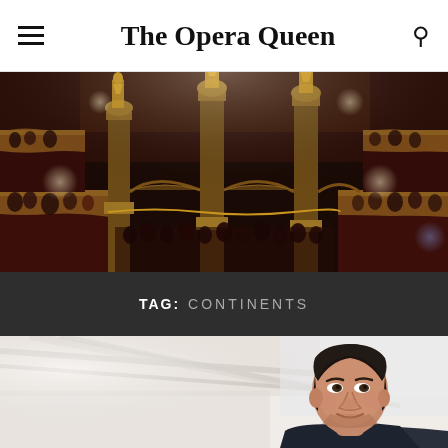The Opera Queen
[Figure (photo): Interior of an ornate opera house showing multiple levels of balconies with red velvet seating, golden decorative columns topped with gilded statues, elaborate baroque ornamentation, and audience members seated in the balconies. Warm stage lighting illuminates the golden details.]
TAG: CONTINENTS
[Figure (photo): A middle-aged man with dark hair, wearing a dark shirt, photographed in a bright modern interior space with white ceiling structures visible. He appears to be looking slightly to the side with a subtle expression.]